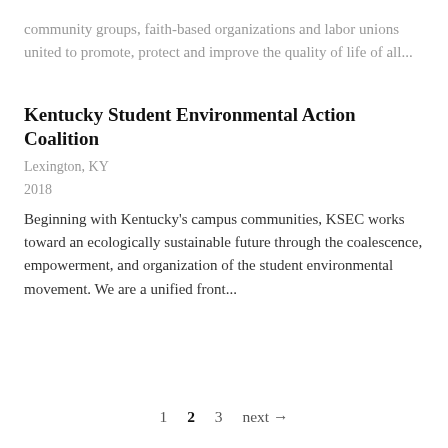community groups, faith-based organizations and labor unions united to promote, protect and improve the quality of life of all...
Kentucky Student Environmental Action Coalition
Lexington, KY
2018
Beginning with Kentucky's campus communities, KSEC works toward an ecologically sustainable future through the coalescence, empowerment, and organization of the student environmental movement. We are a unified front...
1  2  3  next →